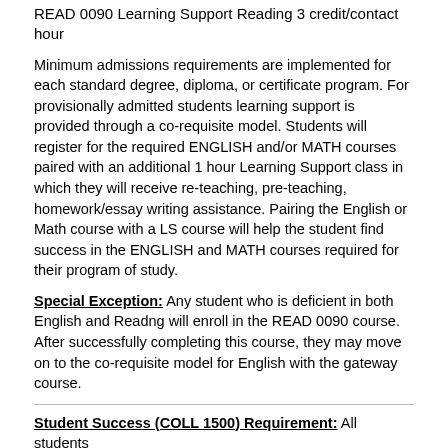READ 0090 Learning Support Reading 3 credit/contact hour
Minimum admissions requirements are implemented for each standard degree, diploma, or certificate program. For provisionally admitted students learning support is provided through a co-requisite model. Students will register for the required ENGLISH and/or MATH courses paired with an additional 1 hour Learning Support class in which they will receive re-teaching, pre-teaching, homework/essay writing assistance. Pairing the English or Math course with a LS course will help the student find success in the ENGLISH and MATH courses required for their program of study.
Special Exception: Any student who is deficient in both English and Readng will enroll in the READ 0090 course. After successfully completing this course, they may move on to the co-requisite model for English with the gateway course.
Student Success (COLL 1500) Requirement: All students